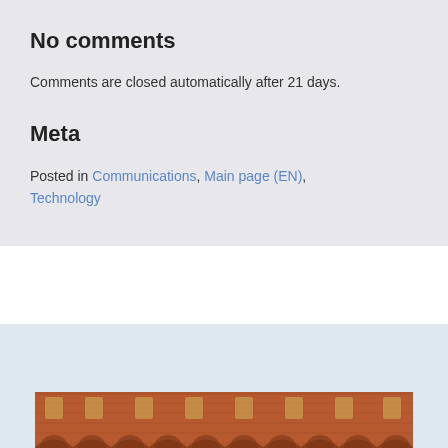No comments
Comments are closed automatically after 21 days.
Meta
Posted in Communications, Main page (EN), Technology
[Figure (photo): Brick building with arched windows and arched colonnade at the bottom, warm reddish-brown tones]